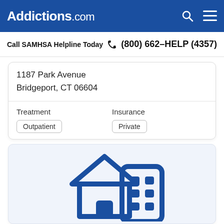Addictions.com
Call SAMHSA Helpline Today  (800) 662-HELP (4357)
1187 Park Avenue
Bridgeport, CT 06604
Treatment
Outpatient
Insurance
Private
[Figure (illustration): Blue icon of a house and a building/office block side by side on a light blue-gray background]